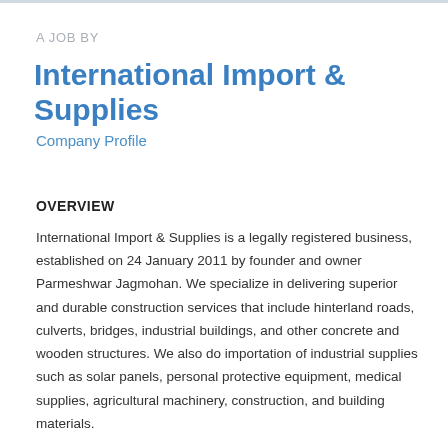A JOB BY
International Import & Supplies
Company Profile
OVERVIEW
International Import & Supplies is a legally registered business, established on 24 January 2011 by founder and owner Parmeshwar Jagmohan. We specialize in delivering superior and durable construction services that include hinterland roads, culverts, bridges, industrial buildings, and other concrete and wooden structures. We also do importation of industrial supplies such as solar panels, personal protective equipment, medical supplies, agricultural machinery, construction, and building materials.